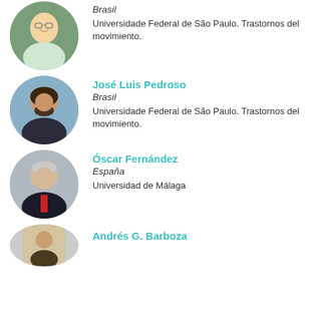[Figure (photo): Circular portrait photo of a man with glasses, smiling, wearing casual attire, outdoors background]
Brasil
Universidade Federal de São Paulo. Trastornos del movimiento.
[Figure (photo): Circular portrait photo of José Luis Pedroso, dark-haired man with beard]
José Luis Pedroso
Brasil
Universidade Federal de São Paulo. Trastornos del movimiento.
[Figure (photo): Circular portrait photo of Óscar Fernández, older gentleman in suit and tie]
Óscar Fernández
España
Universidad de Málaga
[Figure (photo): Circular portrait photo of Andrés G. Barboza, partially visible at bottom]
Andrés G. Barboza